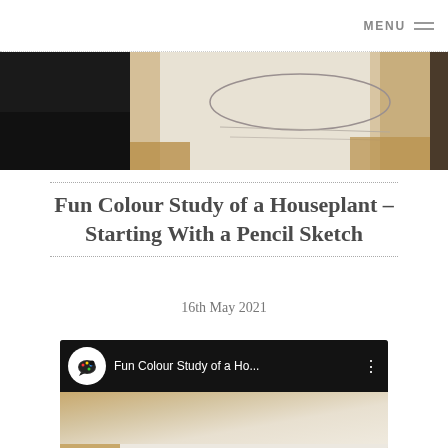MENU
[Figure (photo): A pencil sketch on white paper propped on a wooden surface with a dark background on the left side, showing early stages of a houseplant drawing.]
Fun Colour Study of a Houseplant – Starting With a Pencil Sketch
16th May 2021
[Figure (screenshot): Embedded YouTube video thumbnail showing a channel icon with a paint palette logo, the title 'Fun Colour Study of a Ho...' and a three-dot menu button. The video content shows a pencil sketch of leaves on a textured surface.]